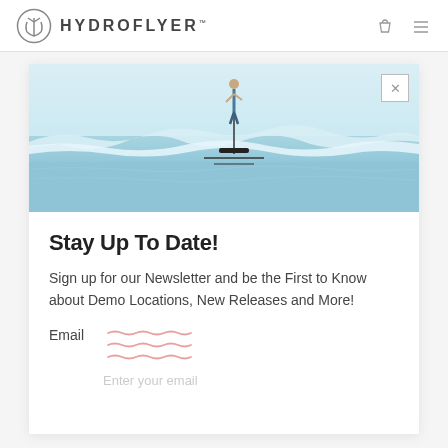HYDROFLYER™
[Figure (photo): Person riding an electric hydrofoil surfboard above ocean waves, viewed from the side. Light blue water and gentle waves in the background.]
Stay Up To Date!
Sign up for our Newsletter and be the First to Know about Demo Locations, New Releases and More!
Email